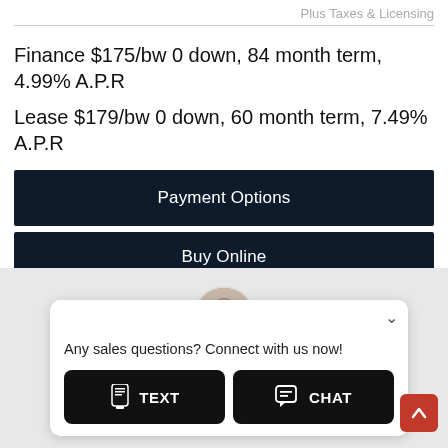Plus Taxes & Licensing
Finance $175/bw 0 down, 84 month term, 4.99% A.P.R
Lease $179/bw 0 down, 60 month term, 7.49% A.P.R
Payment Options
Buy Online
View Details
[Figure (screenshot): Chat popup widget with a person's avatar photo, a close chevron button, message 'Any sales questions? Connect with us now!', and two dark buttons labeled TEXT and CHAT with icons.]